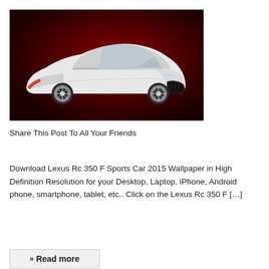[Figure (photo): White Lexus RC 350 F Sports car on a dark red background, side-front view showing the aggressive grille, spindle front end, and sporty alloy wheels.]
Share This Post To All Your Friends
Download Lexus Rc 350 F Sports Car 2015 Wallpaper in High Definition Resolution for your Desktop, Laptop, iPhone, Android phone, smartphone, tablet, etc.. Click on the Lexus Rc 350 F […]
» Read more